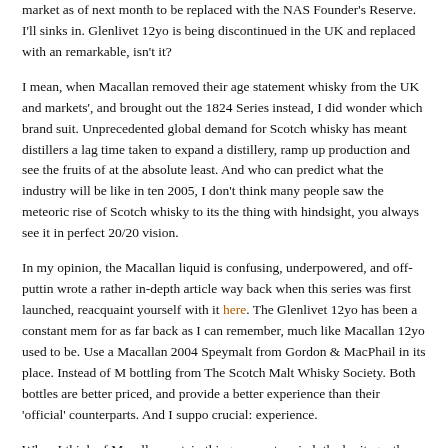market as of next month to be replaced with the NAS Founder's Reserve. I'll sinks in. Glenlivet 12yo is being discontinued in the UK and replaced with an remarkable, isn't it?
I mean, when Macallan removed their age statement whisky from the UK and markets', and brought out the 1824 Series instead, I did wonder which brand suit. Unprecedented global demand for Scotch whisky has meant distillers a lag time taken to expand a distillery, ramp up production and see the fruits of at the absolute least. And who can predict what the industry will be like in ten 2005, I don't think many people saw the meteoric rise of Scotch whisky to its the thing with hindsight, you always see it in perfect 20/20 vision.
In my opinion, the Macallan liquid is confusing, underpowered, and off-puttin wrote a rather in-depth article way back when this series was first launched, reacquaint yourself with it here. The Glenlivet 12yo has been a constant mem for as far back as I can remember, much like Macallan 12yo used to be. Use a Macallan 2004 Speymalt from Gordon & MacPhail in its place. Instead of M bottling from The Scotch Malt Whisky Society. Both bottles are better priced, and provide a better experience than their 'official' counterparts. And I suppo crucial: experience.
When I think of Macallan certain things come to mind: the heritage, the prest